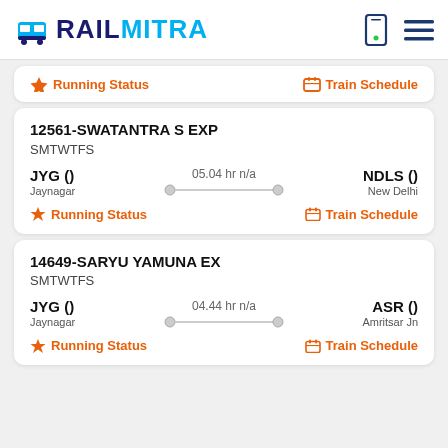RAILMITRA
Running Status | Train Schedule
12561-SWATANTRA S EXP
SMTWTFS
JYG () — 05.04 hr n/a — NDLS ()
Jaynagar — New Delhi
Running Status | Train Schedule
14649-SARYU YAMUNA EX
SMTWTFS
JYG () — 04.44 hr n/a — ASR ()
Jaynagar — Amritsar Jn
Running Status | Train Schedule